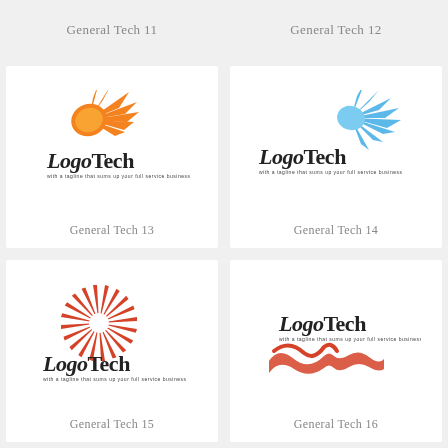General Tech 11
General Tech 12
[Figure (logo): Orange spiky burst/comet shape with LogoTech text below — General Tech 13 logo]
General Tech 13
[Figure (logo): Blue spiky lightning/wing shape with LogoTech text — General Tech 14 logo]
General Tech 14
[Figure (logo): Red radial sunburst triangle with LogoTech text below — General Tech 15 logo]
General Tech 15
[Figure (logo): Orange brushstroke/wave with LogoTech text above — General Tech 16 logo]
General Tech 16